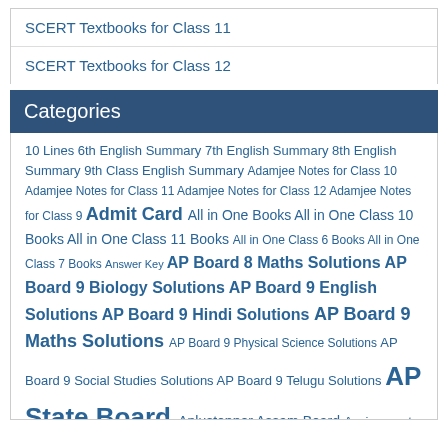SCERT Textbooks for Class 11
SCERT Textbooks for Class 12
Categories
10 Lines 6th English Summary 7th English Summary 8th English Summary 9th Class English Summary Adamjee Notes for Class 10 Adamjee Notes for Class 11 Adamjee Notes for Class 12 Adamjee Notes for Class 9 Admit Card All in One Books All in One Class 10 Books All in One Class 11 Books All in One Class 6 Books All in One Class 7 Books Answer Key AP Board 8 Maths Solutions AP Board 9 Biology Solutions AP Board 9 English Solutions AP Board 9 Hindi Solutions AP Board 9 Maths Solutions AP Board 9 Physical Science Solutions AP Board 9 Social Studies Solutions AP Board 9 Telugu Solutions AP State Board Aplustopper Assam Board Assignment Baby Names Bihar Board 10 English Solutions Bihar Board 10 Hindi Solutions Bihar Board 10 Maths Solutions Bihar Board 10 Sanskrit Solutions Bihar Board 10 Science Solutions Bihar Board 10 Social Science Solutions Bihar Board 10 Solutions Bihar Board 11 Biology Solutions Bihar Board 11 Chemistry Solutions Bihar Board 11 Economics Solutions Bihar Board 11 English Solutions Bihar Board 11 Geography Solutions Bihar Board 11